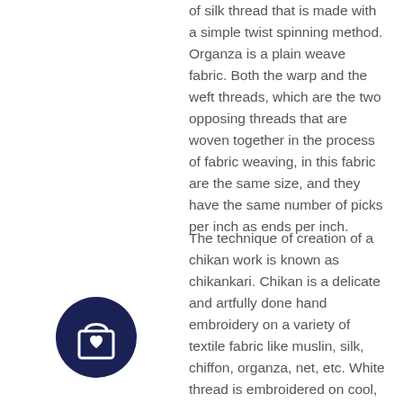of silk thread that is made with a simple twist spinning method. Organza is a plain weave fabric. Both the warp and the weft threads, which are the two opposing threads that are woven together in the process of fabric weaving, in this fabric are the same size, and they have the same number of picks per inch as ends per inch.
The technique of creation of a chikan work is known as chikankari. Chikan is a delicate and artfully done hand embroidery on a variety of textile fabric like muslin, silk, chiffon, organza, net, etc. White thread is embroidered on cool, pastel shades of light muslin and cotton garments. Chikan work in the recent times has adapted additional embellishments like
[Figure (illustration): Dark navy blue circle with a white shopping bag icon featuring a heart on it]